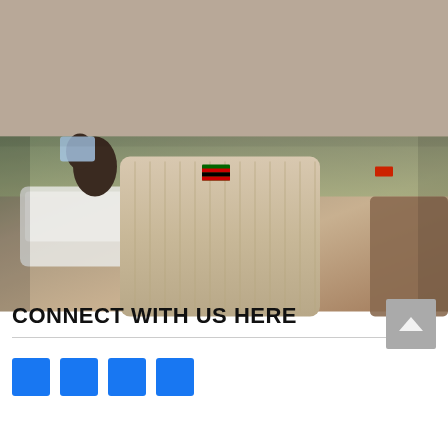[Figure (photo): A uniformed person wearing a beige ribbed sweater with a Kenyan flag badge on the shoulder, holding something up, with a white car and other uniformed people in the background.]
Parents failing to enroll learners warned
LEAVE A REPLY
You must be logged in to post a comment.
CONNECT WITH US HERE